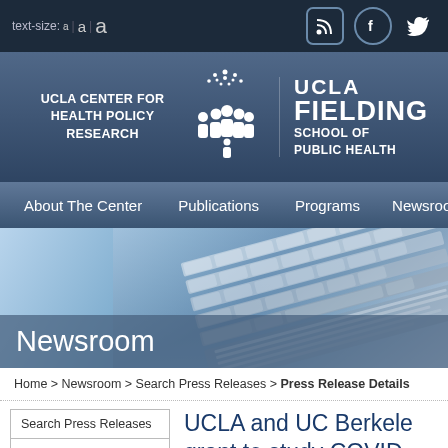text-size: a | a | a
[Figure (logo): UCLA Center for Health Policy Research and UCLA Fielding School of Public Health logos]
About The Center | Publications | Programs | Newsroom
[Figure (photo): Newsroom banner with keyboard background image and 'Newsroom' text overlay]
Home > Newsroom > Search Press Releases > Press Release Details
Search Press Releases
Search Press Releases
UCLA and UC Berkeley grant to study COVID